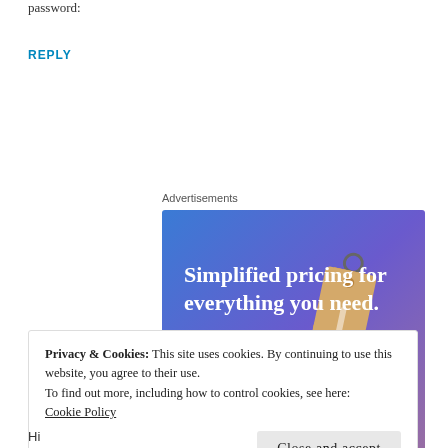password:
REPLY
Advertisements
[Figure (illustration): Advertisement banner with gradient blue-purple background. Text reads 'Simplified pricing for everything you need.' with a pink 'Build Your Website' button and a price tag graphic on the right.]
Privacy & Cookies: This site uses cookies. By continuing to use this website, you agree to their use.
To find out more, including how to control cookies, see here:
Cookie Policy
Close and accept
Hi